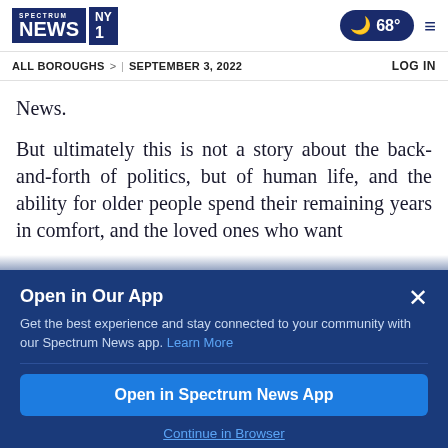Spectrum News NY1 | 68° | ALL BOROUGHS | SEPTEMBER 3, 2022 | LOG IN
News.
But ultimately this is not a story about the back-and-forth of politics, but of human life, and the ability for older people spend their remaining years in comfort, and the loved ones who want
Open in Our App
Get the best experience and stay connected to your community with our Spectrum News app. Learn More
Open in Spectrum News App
Continue in Browser